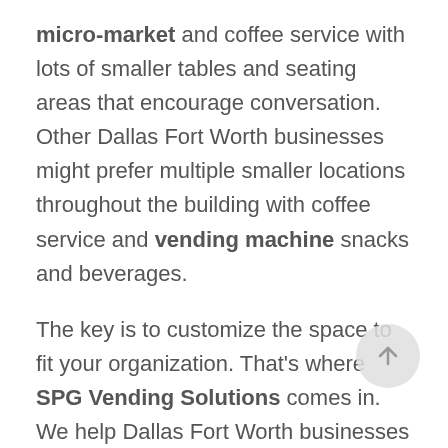micro-market and coffee service with lots of smaller tables and seating areas that encourage conversation. Other Dallas Fort Worth businesses might prefer multiple smaller locations throughout the building with coffee service and vending machine snacks and beverages.
The key is to customize the space to fit your organization. That's where SPG Vending Solutions comes in. We help Dallas Fort Worth businesses discover the right combination of beverages, snacks, and food to create a break room that supports employee collaboration. For more information or to take the first step, call us at 817-608-0804. We look forward to